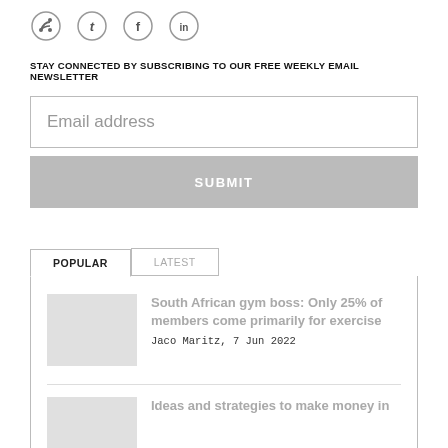[Figure (infographic): Social media icon row: RSS feed, Twitter, Facebook, LinkedIn — circular outlined icons]
STAY CONNECTED BY SUBSCRIBING TO OUR FREE WEEKLY EMAIL NEWSLETTER
Email address
SUBMIT
POPULAR
LATEST
South African gym boss: Only 25% of members come primarily for exercise
Jaco Maritz, 7 Jun 2022
Ideas and strategies to make money in